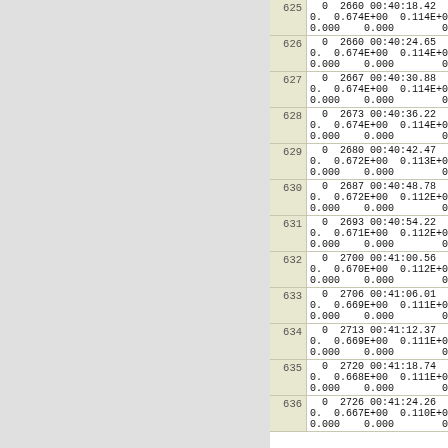| Row | Data |
| --- | --- |
| 625 | 0  2660 00:40:18.42  0.709E
0.  0.674E+00  0.114E+00  0.909E
0.000    0.000        0 |
| 626 | 0  2660 00:40:24.65  0.889A
0.  0.674E+00  0.114E+00  0.919E
0.000    0.000        0 |
| 627 | 0  2667 00:40:30.88  0.889A
0.  0.674E+00  0.114E+00  0.912E
0.000    0.000        0 |
| 628 | 0  2673 00:40:36.22  0.891A
0.  0.674E+00  0.114E+00  0.905E
0.000    0.000        0 |
| 629 | 0  2680 00:40:42.47  0.896A
0.  0.672E+00  0.113E+00  0.891E
0.000    0.000        0 |
| 630 | 0  2687 00:40:48.78  0.905A
0.  0.672E+00  0.112E+00  0.893E
0.000    0.000        0 |
| 631 | 0  2693 00:40:54.22  0.905A
0.  0.671E+00  0.112E+00  0.889E
0.000    0.000        0 |
| 632 | 0  2700 00:41:00.56  0.907A
0.  0.670E+00  0.112E+00  0.882E
0.000    0.000        0 |
| 633 | 0  2706 00:41:06.01  0.909A
0.  0.669E+00  0.111E+00  0.879E
0.000    0.000        0 |
| 634 | 0  2713 00:41:12.37  0.908A
0.  0.669E+00  0.111E+00  0.870E
0.000    0.000        0 |
| 635 | 0  2720 00:41:18.74  0.915A
0.  0.668E+00  0.111E+00  0.865E
0.000    0.000        0 |
| 636 | 0  2726 00:41:24.26  0.918A
0.  0.667E+00  0.110E+00  0.861E
0.000    0.000        0 |